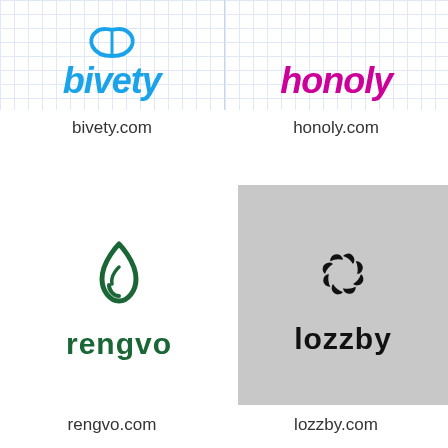[Figure (logo): bivety logo on grid background - blue italic bold text with swoosh mark above]
[Figure (logo): honoly logo on grid background - magenta/pink italic bold text]
bivety.com
honoly.com
[Figure (logo): rengvo logo - dark green flame/droplet icon above green bold text rengvo]
[Figure (logo): lozzby logo on grey background - black spinning circle icon above bold text lozzby]
rengvo.com
lozzby.com